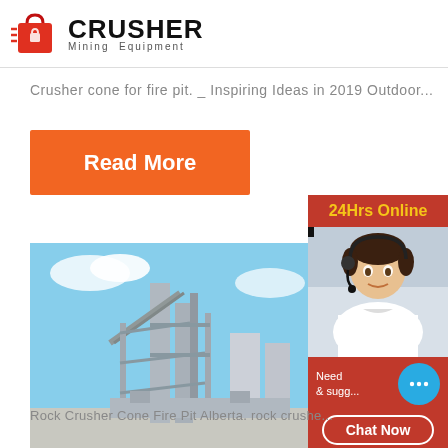CRUSHER Mining Equipment
Crusher cone for fire pit. _ Inspiring Ideas in 2019 Outdoor...
Read More
[Figure (photo): Industrial crushing/mining facility with steel structures and conveyors against a blue sky]
600tp mobil crush cones sale
[Figure (infographic): Sidebar: 24Hrs Online banner, customer service representative photo with headset, Need & suggestions chat bubble, Chat Now button, Enquiry link, limingjlmofen@sina.com email]
Rock Crusher Cone Fire Pit Alberta. rock crusher...